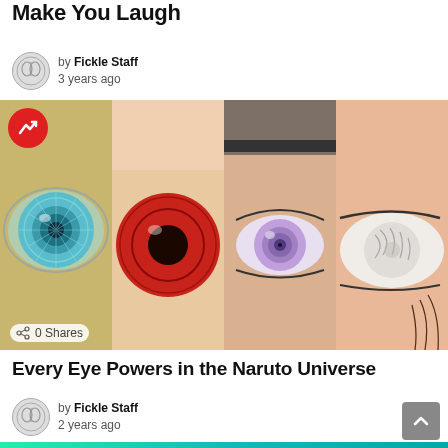Make You Laugh
by Fickle Staff
3 years ago
[Figure (illustration): Four panels of anime eyes from Naruto universe: a teal Rinnegan-like eye, a red Sharingan eye, a lavender Byakugan eye, and a white eye with distinctive markings. Red circular badge with trending arrow in top-left corner.]
0 Shares
Every Eye Powers in the Naruto Universe
by Fickle Staff
2 years ago